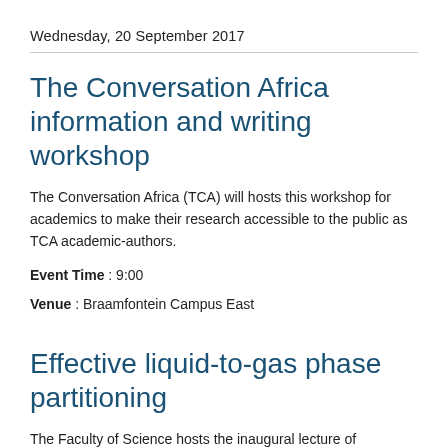Wednesday, 20 September 2017
The Conversation Africa information and writing workshop
The Conversation Africa (TCA) will hosts this workshop for academics to make their research accessible to the public as TCA academic-authors.
Event Time : 9:00
Venue : Braamfontein Campus East
Effective liquid-to-gas phase partitioning
The Faculty of Science hosts the inaugural lecture of Professor Niven Constance in the School of Molecular...